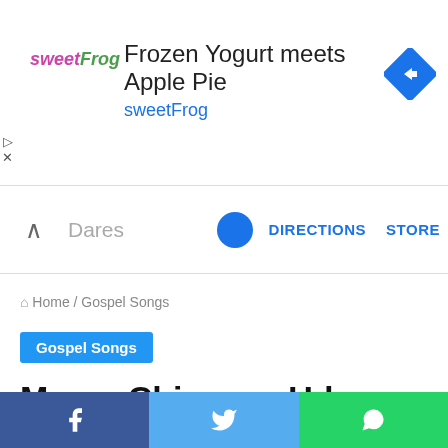[Figure (screenshot): Advertisement banner for sweetFrog frozen yogurt with logo, text 'Frozen Yogurt meets Apple Pie', blue navigation arrow icon, and close/skip controls]
▲   Dares   DIRECTIONS   STORE
🏠 Home / Gospel Songs
Gospel Songs
Mercy Chinwo – Udeme
Advertisement